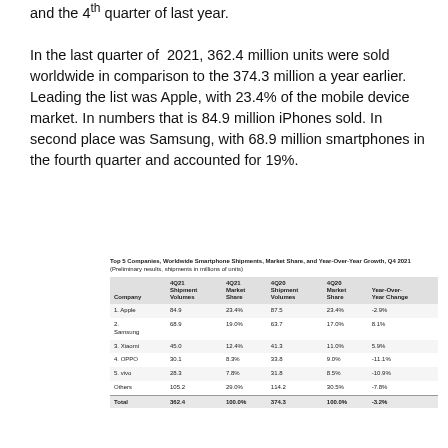and the 4th quarter of last year.
In the last quarter of 2021, 362.4 million units were sold worldwide in comparison to the 374.3 million a year earlier. Leading the list was Apple, with 23.4% of the mobile device market. In numbers that is 84.9 million iPhones sold. In second place was Samsung, with 68.9 million smartphones in the fourth quarter and accounted for 19%.
Top 5 Companies, Worldwide Smartphone Shipments, Market Share, and Year-Over-Year Growth, Q4 2021 (Preliminary results, shipments in millions of units)
| Company | 4Q21 Shipment Volumes | 4Q21 Market Share | 4Q20 Shipment Volumes | 4Q20 Market Share | Year-Over-Year Change |
| --- | --- | --- | --- | --- | --- |
| 1. Apple | 84.9 | 23.4% | 87.5 | 23.4% | -2.9% |
| 2. Samsung | 68.9 | 19.0% | 63.7 | 17.0% | 8.1% |
| 3. Xiaomi | 45.0 | 12.4% | 41.3 | 11.0% | 5.9% |
| 4. OPPO | 30.1 | 8.3% | 33.8 | 9.0% | -11.1% |
| 5. vivo | 28.3 | 7.8% | 31.8 | 8.5% | -10.9% |
| Others | 105.2 | 29.0% | 114.2 | 30.5% | -7.8% |
| Total | 362.4 | 100.0% | 374.3 | 100.0% | -3.2% |